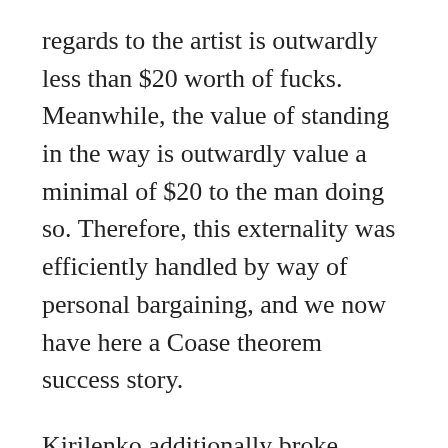regards to the artist is outwardly less than $20 worth of fucks. Meanwhile, the value of standing in the way is outwardly value a minimal of $20 to the man doing so. Therefore, this externality was efficiently handled by way of personal bargaining, and we now have here a Coase theorem success story.
Kirilenko additionally broke Williams within the second set and took a 4-2 lead earlier than faltering down the stretch. Withdraw cash ivermectina 6 mg farmacia san pablo To that end, Defense Secretary Chuck Hagel on Wednesday called the commanding officer of the USS Barry, a guided missile destroyer that is doubtless one